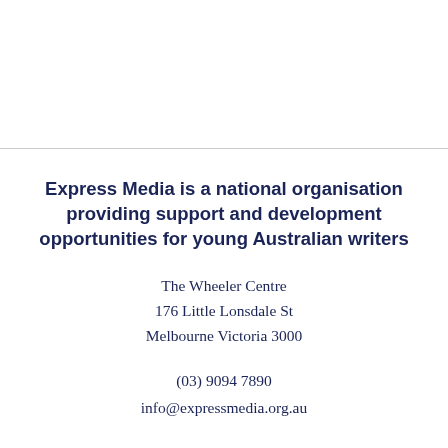Express Media is a national organisation providing support and development opportunities for young Australian writers
The Wheeler Centre
176 Little Lonsdale St
Melbourne Victoria 3000
(03) 9094 7890
info@expressmedia.org.au
Monday to Friday, 10am to 5pm